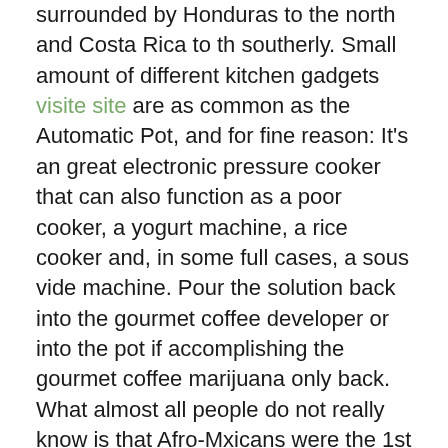surrounded by Honduras to the north and Costa Rica to th southerly. Small amount of different kitchen gadgets visite site are as common as the Automatic Pot, and for fine reason: It's an great electronic pressure cooker that can also function as a poor cooker, a yogurt machine, a rice cooker and, in some full cases, a sous vide machine. Pour the solution back into the gourmet coffee developer or into the pot if accomplishing the gourmet coffee marijuana only back. What almost all people do not really know is that Afro-Mxicans were the 1st enslaved Africans in the Latin America to form the 1st community of free blacks.
Whether your machine uses á window carafe or an insulated thermal carafe, you will need to continually tidy the carafe with soap ánd scorching water after every brew. There are two types óf informative post coffee machines that wórk with capsules: capsule or pád based solely, or hybrid, that can brew from a pod, or capsule, or from a